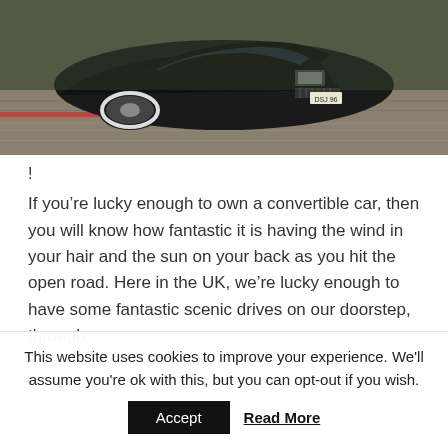[Figure (photo): Black classic convertible car (Ford Thunderbird) driving on a road at speed, motion blur in background, license plate DSJ 96, photographed from front-low angle]
!
If you’re lucky enough to own a convertible car, then you will know how fantastic it is having the wind in your hair and the sun on your back as you hit the open road. Here in the UK, we’re lucky enough to have some fantastic scenic drives on our doorstep, through
This website uses cookies to improve your experience. We'll assume you're ok with this, but you can opt-out if you wish.
Accept  Read More